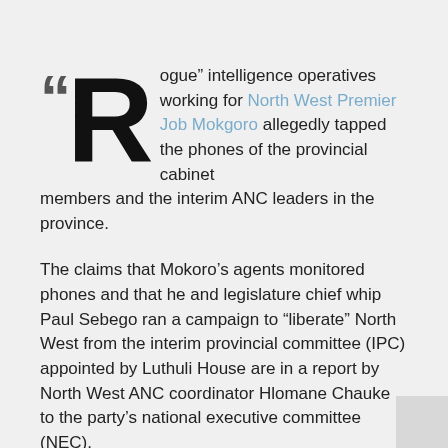“Rogue” intelligence operatives working for North West Premier Job Mokgoro allegedly tapped the phones of the provincial cabinet members and the interim ANC leaders in the province.
The claims that Mokoro’s agents monitored phones and that he and legislature chief whip Paul Sebego ran a campaign to “liberate” North West from the interim provincial committee (IPC) appointed by Luthuli House are in a report by North West ANC coordinator Hlomane Chauke to the party’s national executive committee (NEC).